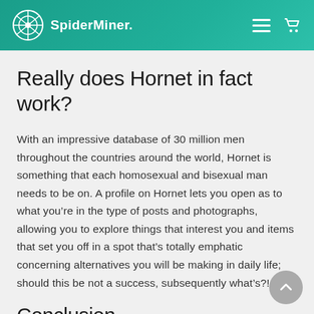SpiderMiner.
Really does Hornet in fact work?
With an impressive database of 30 million men throughout the countries around the world, Hornet is something that each homosexual and bisexual man needs to be on. A profile on Hornet lets you open as to what you’re in the type of posts and photographs, allowing you to explore things that interest you and items that set you off in a spot that’s totally emphatic concerning alternatives you will be making in daily life; should this be not a success, subsequently what’s?!
Conclusion